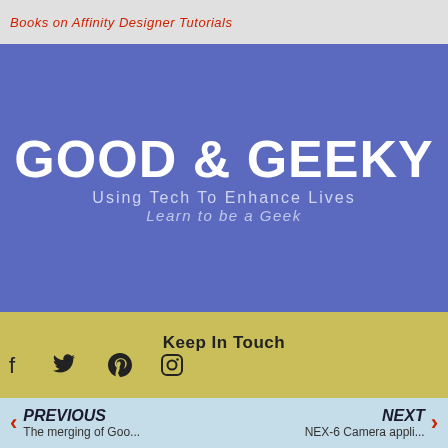Books on Affinity Designer Tutorials
GOOD & GEEKY
Using Tech To Enhance Lives
Learn to be a Geek
Keep In Touch
[Figure (infographic): Social media icons: Facebook, Twitter, Pinterest, Instagram]
PREVIOUS The merging of Goo... | NEXT NEX-6 Camera appli...